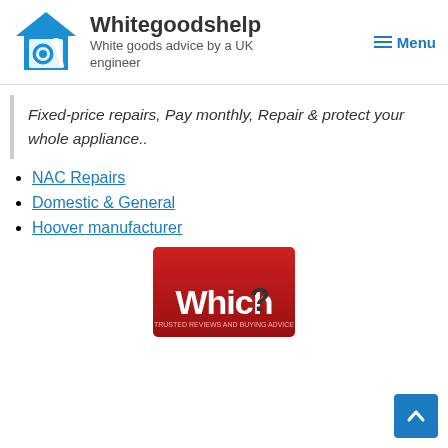Whitegoodshelp — White goods advice by a UK engineer
Fixed-price repairs, Pay monthly, Repair & protect your whole appliance..
NAC Repairs
Domestic & General
Hoover manufacturer
[Figure (logo): Which? logo — red rectangle with white text 'Which?' and a dark question mark]